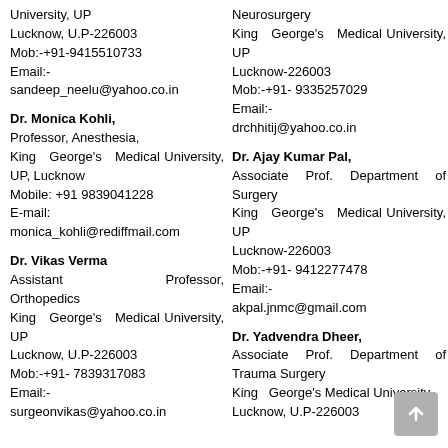University, UP
Lucknow, U.P-226003
Mob:-+91-9415510733
Email:-
sandeep_neelu@yahoo.co.in
Neurosurgery
King George's Medical University, UP
Lucknow-226003
Mob:-+91- 9335257029
Email:-
drchhitij@yahoo.co.in
Dr. Monica Kohli,
Professor, Anesthesia,
King George's Medical University, UP, Lucknow
Mobile: +91 9839041228
E-mail:
monica_kohli@rediffmail.com
Dr. Ajay Kumar Pal,
Associate Prof. Department of Surgery
King George's Medical University, UP
Lucknow-226003
Mob:-+91- 9412277478
Email:-
akpal.jnmc@gmail.com
Dr. Vikas Verma
Assistant Professor, Orthopedics
King George's Medical University, UP
Lucknow, U.P-226003
Mob:-+91- 7839317083
Email:-
surgeonvikas@yahoo.co.in
Dr. Yadvendra Dheer,
Associate Prof. Department of Trauma Surgery
King George's Medical University
Lucknow, U.P-226003